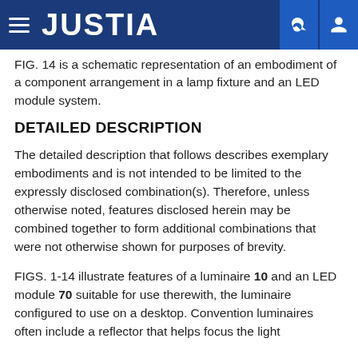JUSTIA
FIG. 14 is a schematic representation of an embodiment of a component arrangement in a lamp fixture and an LED module system.
DETAILED DESCRIPTION
The detailed description that follows describes exemplary embodiments and is not intended to be limited to the expressly disclosed combination(s). Therefore, unless otherwise noted, features disclosed herein may be combined together to form additional combinations that were not otherwise shown for purposes of brevity.
FIGS. 1-14 illustrate features of a luminaire 10 and an LED module 70 suitable for use therewith, the luminaire configured to use on a desktop. Convention luminaires often include a reflector that helps focus the light